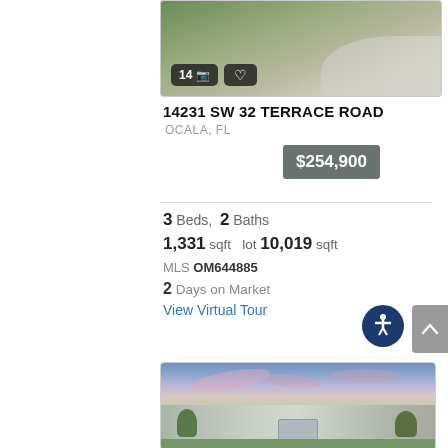[Figure (photo): Aerial/driveway view of property with grass lawn, partially visible]
14231 SW 32 TERRACE ROAD
OCALA, FL
$254,900
3 Beds,  2 Baths
1,331 sqft   lot 10,019 sqft
MLS OM644885
2 Days on Market
View Virtual Tour
[Figure (photo): Front exterior of a single-story ranch home at dusk with dramatic sunset sky, green lawn, two-car garage]